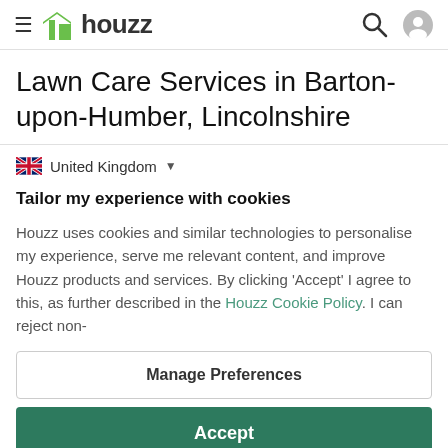houzz
Lawn Care Services in Barton-upon-Humber, Lincolnshire
United Kingdom
Tailor my experience with cookies
Houzz uses cookies and similar technologies to personalise my experience, serve me relevant content, and improve Houzz products and services. By clicking 'Accept' I agree to this, as further described in the Houzz Cookie Policy. I can reject non-
Manage Preferences
Accept